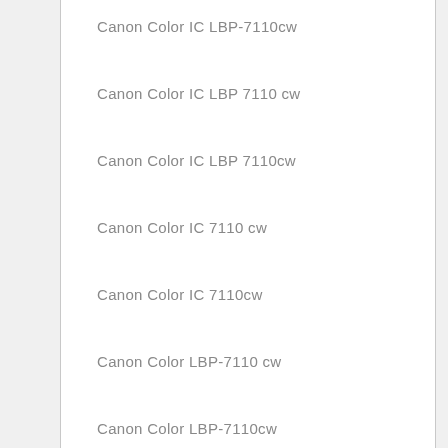Canon Color IC LBP-7110cw
Canon Color IC LBP 7110 cw
Canon Color IC LBP 7110cw
Canon Color IC 7110 cw
Canon Color IC 7110cw
Canon Color LBP-7110 cw
Canon Color LBP-7110cw
Canon Color LBP 7110 cw
Canon Color LBP 7110cw
CANON IMAGECLASS LBP-7110 CW
Canon Imageclass LBP-7110cw